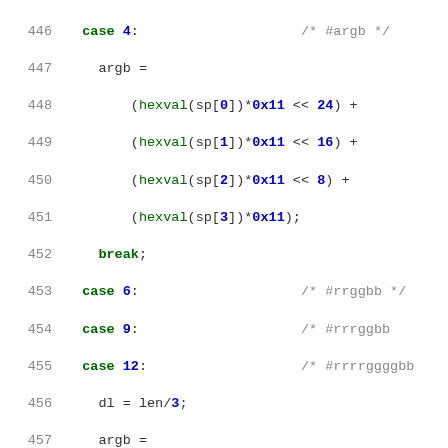[Figure (screenshot): Source code listing showing a switch-case block in C, lines 446-472, with syntax highlighting: green for keywords and function names, blue for numeric/hex constants, gray for comments and line numbers.]